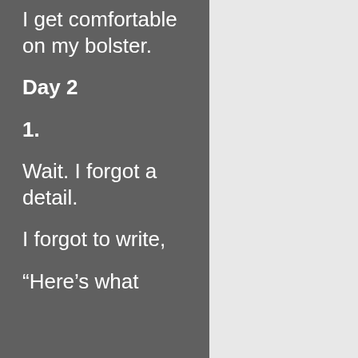I get comfortable on my bolster.
Day 2
1.
Wait. I forgot a detail.
I forgot to write,
“Here’s what